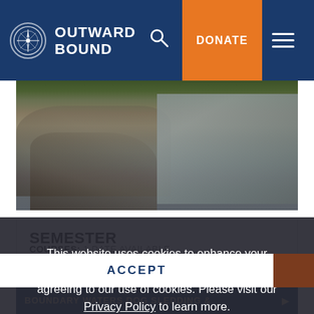OUTWARD BOUND
[Figure (photo): Rocky terrain and water, outdoor wilderness landscape]
SEMESTER
COURSES: 1 DATE AVAILABLE
AGES: 18+
LENGTH: 72 DAYS
COST: $14,075
DETAILS & DATES ▶
COMPARE
This website uses cookies to enhance your experience. By continuing to use this site, you are agreeing to our use of cookies. Please visit our Privacy Policy to learn more.
ACCEPT
BOUNDARY WATERS DOG SLEDDING &